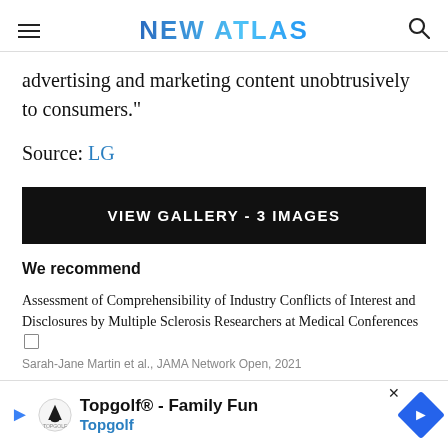NEW ATLAS
advertising and marketing content unobtrusively to consumers."
Source: LG
VIEW GALLERY - 3 IMAGES
We recommend
Assessment of Comprehensibility of Industry Conflicts of Interest and Disclosures by Multiple Sclerosis Researchers at Medical Conferences
Sarah-Jane Martin et al., JAMA Network Open, 2021
Pharma... Interfe...
[Figure (other): Topgolf advertisement banner at bottom of page]